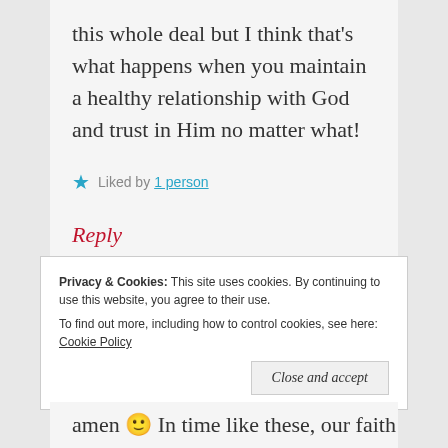this whole deal but I think that's what happens when you maintain a healthy relationship with God and trust in Him no matter what!
★ Liked by 1 person
Reply
Privacy & Cookies: This site uses cookies. By continuing to use this website, you agree to their use. To find out more, including how to control cookies, see here: Cookie Policy
Close and accept
amen 🙂 In time like these, our faith is